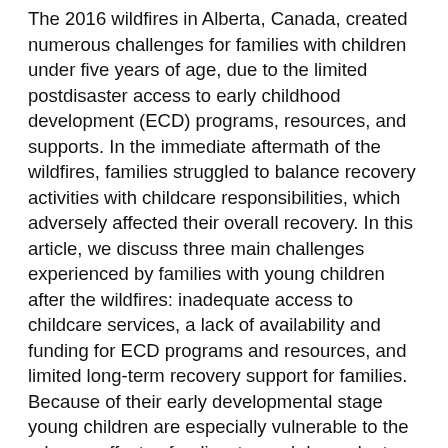The 2016 wildfires in Alberta, Canada, created numerous challenges for families with children under five years of age, due to the limited postdisaster access to early childhood development (ECD) programs, resources, and supports. In the immediate aftermath of the wildfires, families struggled to balance recovery activities with childcare responsibilities, which adversely affected their overall recovery. In this article, we discuss three main challenges experienced by families with young children after the wildfires: inadequate access to childcare services, a lack of availability and funding for ECD programs and resources, and limited long-term recovery support for families. Because of their early developmental stage young children are especially vulnerable to the adverse effects of a disaster and dependent on their adult caregivers, it is essential to understand the unique challenges families face after a disaster. Children's prolonged exposure to the stress of a disaster environment is compounded when parents have limited access to crucial programs, resources, and supports during the most crucial periods of rebuilding and recovery. The findings presented in this article provide insight into...